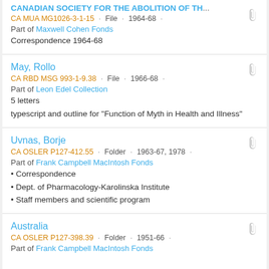CANADIAN SOCIETY FOR THE ABOLITION OF TH... CA MUA MG1026-3-1-15 · File · 1964-68 · Part of Maxwell Cohen Fonds. Correspondence 1964-68
May, Rollo. CA RBD MSG 993-1-9.38 · File · 1966-68 · Part of Leon Edel Collection. 5 letters. typescript and outline for "Function of Myth in Health and Illness"
Uvnas, Borje. CA OSLER P127-412.55 · Folder · 1963-67, 1978 · Part of Frank Campbell MacIntosh Fonds. • Correspondence • Dept. of Pharmacology-Karolinska Institute • Staff members and scientific program
Australia. CA OSLER P127-398.39 · Folder · 1951-66 · Part of Frank Campbell MacIntosh Fonds